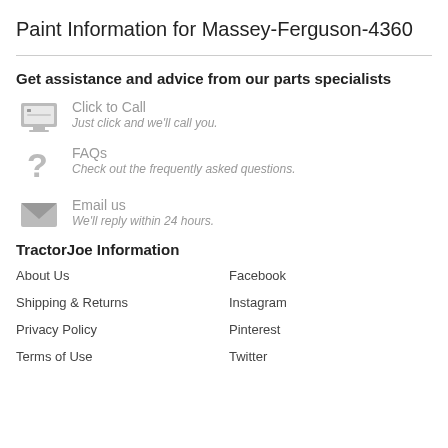Paint Information for Massey-Ferguson-4360
Get assistance and advice from our parts specialists
Click to Call — Just click and we'll call you.
FAQs — Check out the frequently asked questions.
Email us — We'll reply within 24 hours.
TractorJoe Information
About Us
Facebook
Shipping & Returns
Instagram
Privacy Policy
Pinterest
Terms of Use
Twitter